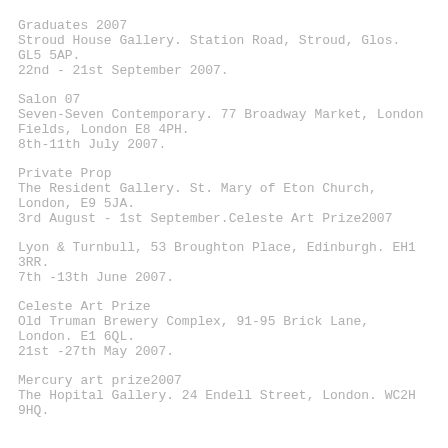Graduates 2007
Stroud House Gallery. Station Road, Stroud, Glos. GL5 5AP.
22nd - 21st September 2007.
Salon 07
Seven-Seven Contemporary. 77 Broadway Market, London Fields, London E8 4PH.
8th-11th July 2007.
Private Prop
The Resident Gallery. St. Mary of Eton Church, London, E9 5JA.
3rd August - 1st September.Celeste Art Prize2007
Lyon & Turnbull, 53 Broughton Place, Edinburgh. EH1 3RR.
7th -13th June 2007.
Celeste Art Prize
Old Truman Brewery Complex, 91-95 Brick Lane, London. E1 6QL.
21st -27th May 2007.
Mercury art prize2007
The Hopital Gallery. 24 Endell Street, London. WC2H 9HQ.